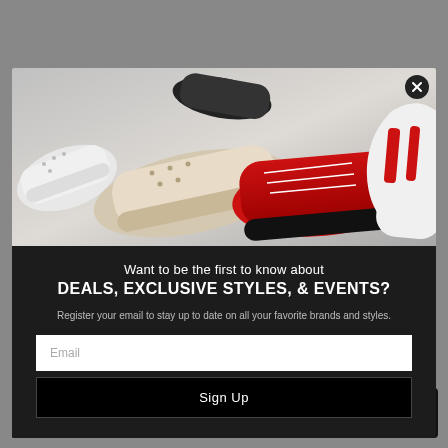Share
Description    Shipping Information    Size Chart
[Figure (photo): Collage of multiple sneakers including white, beige/cream, red, and red-and-white sneakers on a light background]
Want to be the first to know about
DEALS, EXCLUSIVE STYLES, & EVENTS?
Register your email to stay up to date on all your favorite brands and styles.
Email
Sign Up